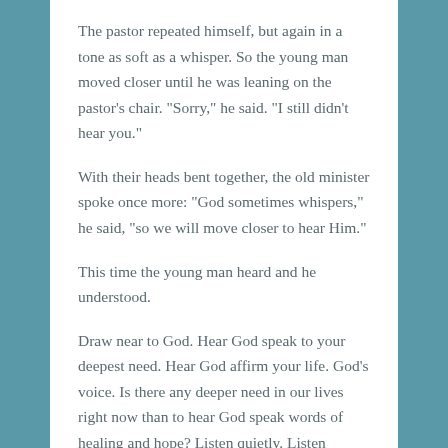The pastor repeated himself, but again in a tone as soft as a whisper. So the young man moved closer until he was leaning on the pastor’s chair. “Sorry,” he said. “I still didn’t hear you.”
With their heads bent together, the old minister spoke once more: “God sometimes whispers,” he said, “so we will move closer to hear Him.”
This time the young man heard and he understood.
Draw near to God. Hear God speak to your deepest need. Hear God affirm your life. God’s voice. Is there any deeper need in our lives right now than to hear God speak words of healing and hope? Listen quietly. Listen closely. Hear Jesus speak your name today.
We need to tune in to the voice of the one who loves us the...